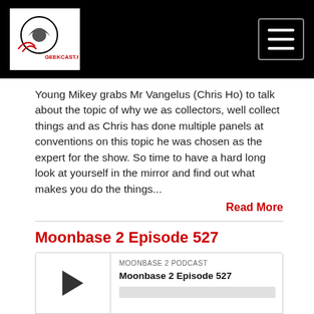[Figure (logo): Website header with black background, logo image on left, hamburger menu button on right]
Young Mikey grabs Mr Vangelus (Chris Ho) to talk about the topic of why we as collectors, well collect things and as Chris has done multiple panels at conventions on this topic he was chosen as the expert for the show. So time to have a hard long look at yourself in the mirror and find out what makes you do the things...
Read More
Moonbase 2 Episode 527
[Figure (other): Podcast audio player widget showing MOONBASE 2 PODCAST, Moonbase 2 Episode 527, with play button, progress bar, time display 00:00:00, and control icons]
Dec 17, 2018